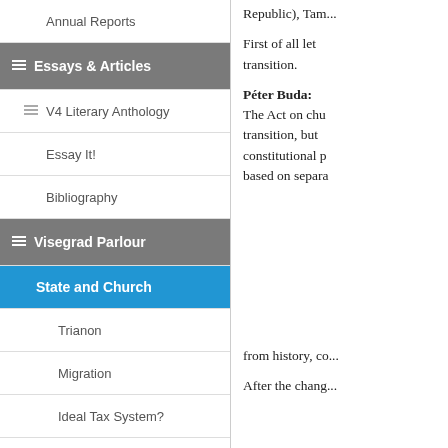Annual Reports
Essays & Articles
V4 Literary Anthology
Essay It!
Bibliography
Visegrad Parlour
State and Church
Trianon
Migration
Ideal Tax System?
Drugs and Law
Homelessness
Visegrád 1335
The "Visegrad Book"
Other articles
Roundtables/Debates
Students' Section
CALENDAR
Republic), Tam...
First of all let... transition.
Péter Buda: The Act on chu... transition, but... constitutional p... based on separa...
from history, co...
After the chang...